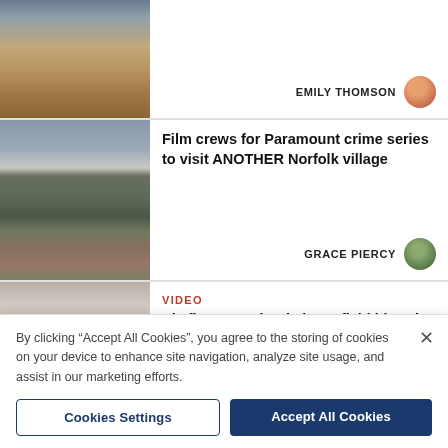[Figure (photo): Aerial/landscape photo showing a dirt/gravel hillside or excavated area with dry brown earth and some houses visible in background]
EMILY THOMSON
[Figure (photo): Photo of a village scene with brick buildings, tractors, and vehicles on a field under a cloudy sky]
Film crews for Paramount crime series to visit ANOTHER Norfolk village
GRACE PIERCY
[Figure (photo): Smoky/hazy photo of a field fire in south Norfolk]
VIDEO
Six fire crews battle large field blaze in south Norfolk
By clicking “Accept All Cookies”, you agree to the storing of cookies on your device to enhance site navigation, analyze site usage, and assist in our marketing efforts.
Cookies Settings
Accept All Cookies